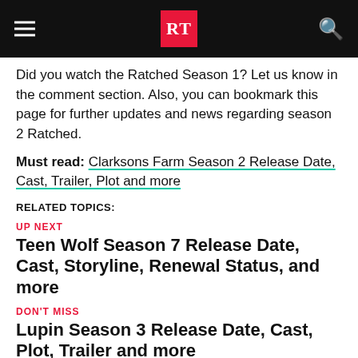RT — Regal Tribune header navigation
Did you watch the Ratched Season 1? Let us know in the comment section. Also, you can bookmark this page for further updates and news regarding season 2 Ratched.
Must read: Clarksons Farm Season 2 Release Date, Cast, Trailer, Plot and more
RELATED TOPICS:
UP NEXT
Teen Wolf Season 7 Release Date, Cast, Storyline, Renewal Status, and more
DON'T MISS
Lupin Season 3 Release Date, Cast, Plot, Trailer and more
Regal Tribune